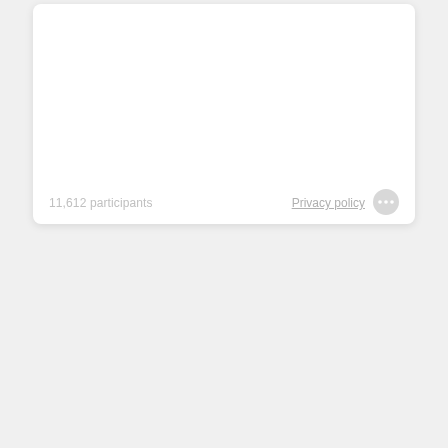11,612 participants
Privacy policy